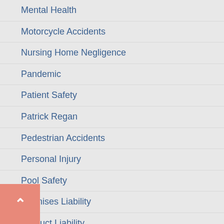Mental Health
Motorcycle Accidents
Nursing Home Negligence
Pandemic
Patient Safety
Patrick Regan
Pedestrian Accidents
Personal Injury
Pool Safety
Premises Liability
Product Liability
Public Health